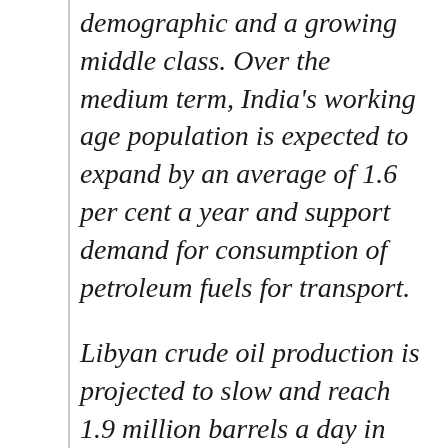demographic and a growing middle class. Over the medium term, India's working age population is expected to expand by an average of 1.6 per cent a year and support demand for consumption of petroleum fuels for transport.
Libyan crude oil production is projected to slow and reach 1.9 million barrels a day in 2017.
Official Iraqi oil production